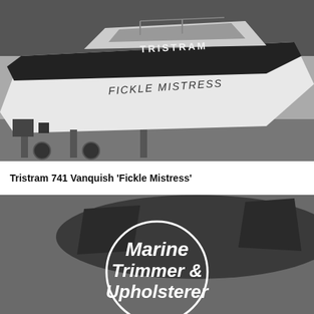[Figure (photo): Black and white photograph of a Tristram 741 Vanquish boat named 'Fickle Mistress' on a trailer. The boat hull is white with a dark stripe, showing the boat name 'FICKLE MISTRESS' on the side and 'TRISTRAM' branding.]
Tristram 741 Vanquish 'Fickle Mistress'
[Figure (photo): Black and white photograph of a dark-hulled boat from behind/side angle, overlaid with a circular badge containing white bold italic text reading 'Marine Trimmer & Upholsterer'.]